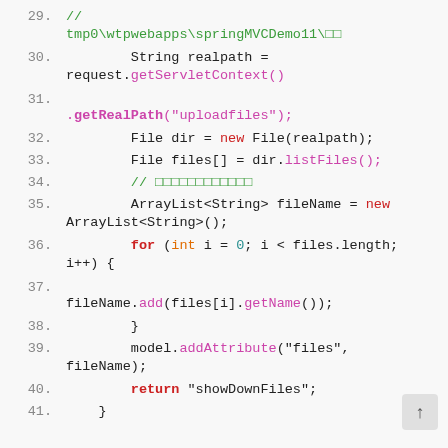Code snippet showing Java file upload listing logic, lines 29-41
[Figure (screenshot): Java source code editor screenshot showing lines 29-41 with syntax highlighting. Line 29: // comment with path tmp0\wtpwebapps\springMVCDemo11. Line 30: String realpath = request.getServletContext(). Line 31: .getRealPath("uploadfiles");. Line 32: File dir = new File(realpath);. Line 33: File files[] = dir.listFiles();. Line 34: // comment (Chinese characters). Line 35: ArrayList<String> fileName = new ArrayList<String>();. Line 36: for (int i = 0; i < files.length; i++) {. Line 37: fileName.add(files[i].getName());. Line 38: }. Line 39: model.addAttribute("files", fileName);. Line 40: return "showDownFiles";. Line 41: }]